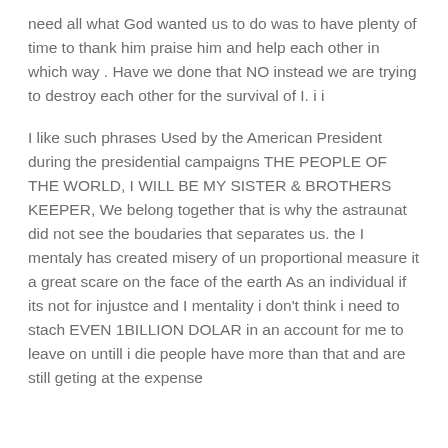need all what God wanted us to do was to have plenty of time to thank him praise him and help each other in which way . Have we done that NO instead we are trying to destroy each other for the survival of I. i i
I like such phrases Used by the American President during the presidential campaigns THE PEOPLE OF THE WORLD, I WILL BE MY SISTER & BROTHERS KEEPER, We belong together that is why the astraunat did not see the boudaries that separates us. the I mentaly has created misery of un proportional measure it a great scare on the face of the earth As an individual if its not for injustce and I mentality i don't think i need to stach EVEN 1BILLION DOLAR in an account for me to leave on untill i die people have more than that and are still geting at the expense